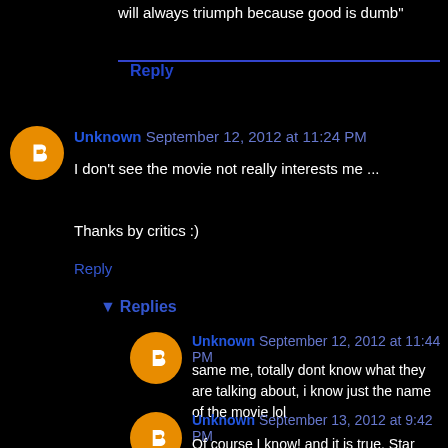will always triumph because good is dumb"
Reply
Unknown September 12, 2012 at 11:24 PM
I don't see the movie not really interests me ...

Thanks by critics :)
Reply
▾ Replies
Unknown September 12, 2012 at 11:44 PM
same me, totally dont know what they are talking about, i know just the name of the movie lol
Unknown September 13, 2012 at 9:42 PM
Of course I know! and it is true, Star Wars is not